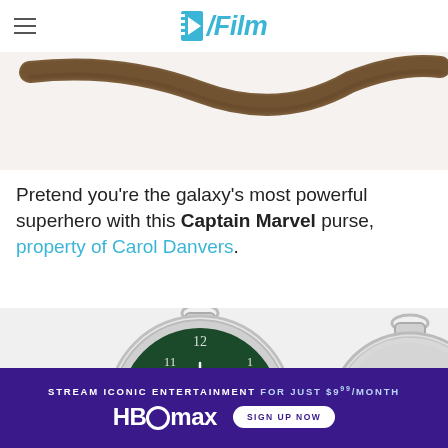/Film
[Figure (photo): Close-up of a brown leather strap on a white background]
Pretend you're the galaxy's most powerful superhero with this Captain Marvel purse, property of Carol Danvers.
[Figure (photo): Two silver pocket watches — one open showing a green face with clock numerals and 'The Court' text, one closed showing engraved silver case]
[Figure (infographic): HBO Max advertisement banner: 'STREAM ICONIC ENTERTAINMENT FOR JUST $9.99/MONTH' with HBO Max logo and 'SIGN UP NOW' button]